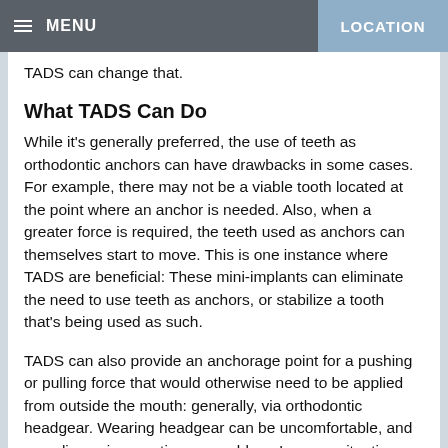MENU    LOCATION
TADS can change that.
What TADS Can Do
While it's generally preferred, the use of teeth as orthodontic anchors can have drawbacks in some cases. For example, there may not be a viable tooth located at the point where an anchor is needed. Also, when a greater force is required, the teeth used as anchors can themselves start to move. This is one instance where TADS are beneficial: These mini-implants can eliminate the need to use teeth as anchors, or stabilize a tooth that's being used as such.
TADS can also provide an anchorage point for a pushing or pulling force that would otherwise need to be applied from outside the mouth: generally, via orthodontic headgear. Wearing headgear can be uncomfortable, and compliance is sometimes a problem. In many situations TADS can eliminate